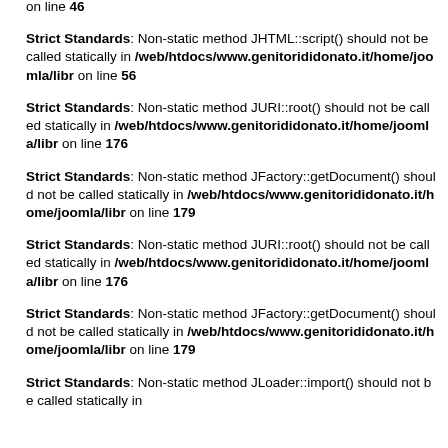on line 46
Strict Standards: Non-static method JHTML::script() should not be called statically in /web/htdocs/www.genitorididonato.it/home/joomla/libr on line 56
Strict Standards: Non-static method JURI::root() should not be called statically in /web/htdocs/www.genitorididonato.it/home/joomla/libr on line 176
Strict Standards: Non-static method JFactory::getDocument() should not be called statically in /web/htdocs/www.genitorididonato.it/home/joomla/libr on line 179
Strict Standards: Non-static method JURI::root() should not be called statically in /web/htdocs/www.genitorididonato.it/home/joomla/libr on line 176
Strict Standards: Non-static method JFactory::getDocument() should not be called statically in /web/htdocs/www.genitorididonato.it/home/joomla/libr on line 179
Strict Standards: Non-static method JLoader::import() should not be called statically in